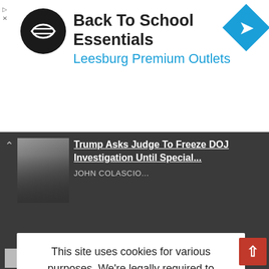[Figure (screenshot): Advertisement banner for Back To School Essentials at Leesburg Premium Outlets, with circular logo and blue diamond navigation icon]
[Figure (screenshot): News article thumbnail: Trump Asks Judge To Freeze DOJ Investigation Until Special... by JOHN COLASCIO...]
Not Involved,"
[Figure (screenshot): Cookie consent modal popup: 'This site uses cookies for various purposes. We're legally required to request your consent. Click accept to close this message. If you do not agree, please immediately exit the service or click more to learn why.' with Accept (green) and More (black) buttons]
of Life After Death
Grant Cardone Foundation Awards $25,000 To